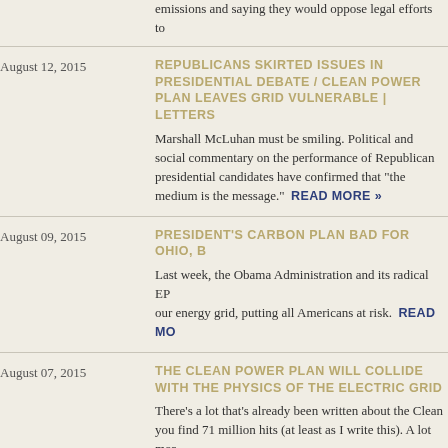emissions and saying they would oppose legal efforts to
REPUBLICANS SKIRTED ISSUES IN PRESIDENTIAL DEBATE / CLEAN POWER PLAN LEAVES GRID VULNERABLE | LETTERS
Marshall McLuhan must be smiling. Political and social commentary on the performance of Republican presidential candidates have confirmed that "the medium is the message."  READ MORE »
PRESIDENT'S CARBON PLAN BAD FOR OHIO, B...
Last week, the Obama Administration and its radical EPA... our energy grid, putting all Americans at risk.  READ MORE
THE CLEAN POWER PLAN WILL COLLIDE WITH THE PHYSICS OF THE ELECTRIC GRID
There's a lot that's already been written about the Clean Power Plan... you find 71 million hits (at least as I write this). A lot mor
OHIO WILL SUE EPA OVER OBAMA'S CLEAN PO...
The Obama administration's plan to reduce the amount